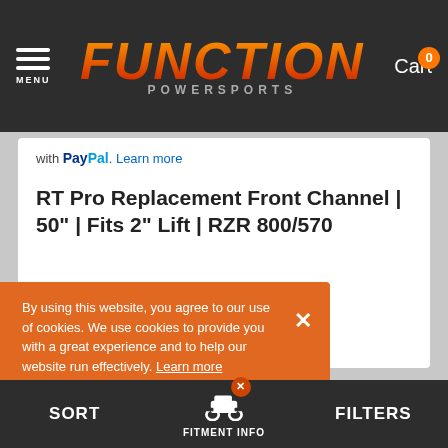MENU | FUNCTION POWERSPORTS | Cart 0
with PayPal. Learn more
RT Pro Replacement Front Channel | 50" | Fits 2" Lift | RZR 800/570
FREE SHIPPING TO THE LOWER 48
$62.00
By using this website, you agree to our use of cookies. We use cookies to provide you with a great experience and to help our website run effectively. Learn more
SORT | FITMENT INFO | FILTERS